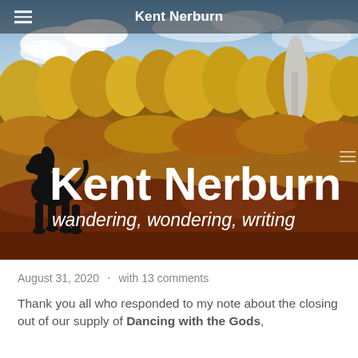Kent Nerburn
[Figure (photo): Autumn landscape photograph with golden and orange foliage trees against a blue sky with clouds. A black silhouette of a sitting dog is overlaid on the left. Large white text reads 'Kent Nerburn' with italic subtitle 'wandering, wondering, writing'.]
August 31, 2020  ·  with 13 comments
Thank you all who responded to my note about the closing out of our supply of Dancing with the Gods,